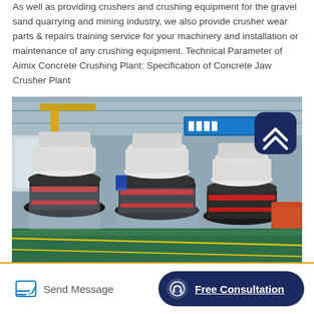As well as providing crushers and crushing equipment for the gravel sand quarrying and mining industry, we also provide crusher wear parts & repairs training service for your machinery and installation or maintenance of any crushing equipment. Technical Parameter of Aimix Concrete Crushing Plant: Specification of Concrete Jaw Crusher Plant
[Figure (photo): Factory interior photograph showing multiple large cone crushers lined up in a manufacturing facility. The machines are white and red with black bases, wrapped in plastic. A forklift is visible in the background on the right. The factory has a green epoxy floor with yellow markings, steel overhead structure, and Chinese text banner visible in the background.]